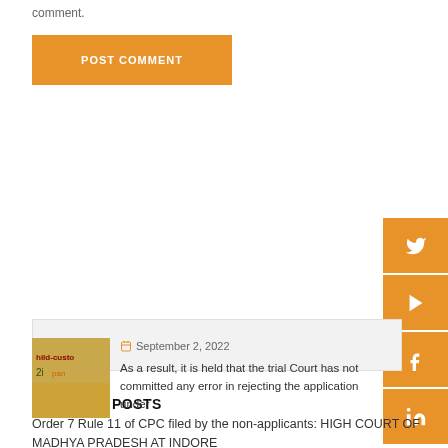comment.
POST COMMENT
Search …
RECENT POSTS
September 2, 2022
As a result, it is held that the trial Court has not committed any error in rejecting the application under Order 7 Rule 11 of CPC filed by the non-applicants: HIGH COURT OF MADHYA PRADESH AT INDORE